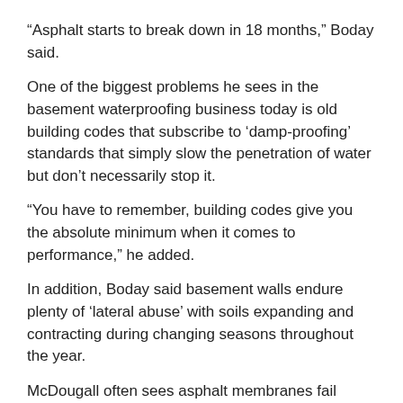“Asphalt starts to break down in 18 months,” Boday said.
One of the biggest problems he sees in the basement waterproofing business today is old building codes that subscribe to ‘damp-proofing’ standards that simply slow the penetration of water but don’t necessarily stop it.
“You have to remember, building codes give you the absolute minimum when it comes to performance,” he added.
In addition, Boday said basement walls endure plenty of ‘lateral abuse’ with soils expanding and contracting during changing seasons throughout the year.
McDougall often sees asphalt membranes fail because of the shifting soil that cracks the concrete walls. It’s less a failure of the asphalt membrane, he says, and more the structure as a whole. He says many of today’s asphalt membranes have been reformulated to non-moisture soluble levels, and can offer a good waterproofing solution.
STARTING OUTSIDE